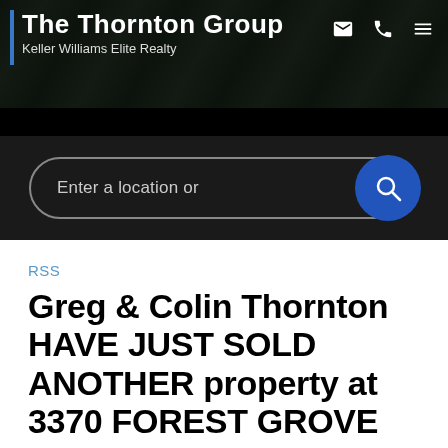[Figure (screenshot): Website header for The Thornton Group, Keller Williams Elite Realty, with dark background, blue vertical bar, brand name, and icons for email, phone, and menu]
[Figure (screenshot): Search bar with placeholder text 'Enter a location or' and a blue circular search button with magnifying glass icon, on dark background]
RSS
Greg & Colin Thornton HAVE JUST SOLD ANOTHER property at 3370 FOREST GROVE PL in Port Coquitlam